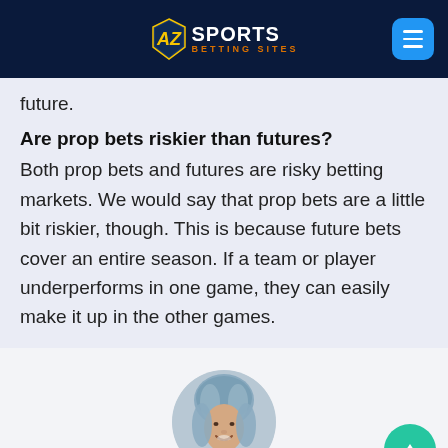AZ Sports Betting Sites
future.
Are prop bets riskier than futures?
Both prop bets and futures are risky betting markets. We would say that prop bets are a little bit riskier, though. This is because future bets cover an entire season. If a team or player underperforms in one game, they can easily make it up in the other games.
[Figure (photo): Circular profile photo of a woman with gray-blue hair, smiling.]